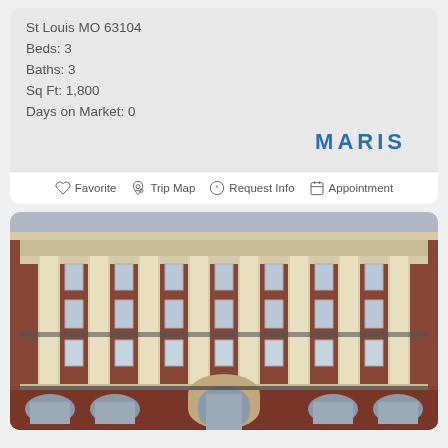St Louis MO 63104
Beds: 3
Baths: 3
Sq Ft: 1,800
Days on Market: 0
[Figure (logo): MARIS logo in bold blue letters]
Favorite  Trip Map  Request Info  Appointment
[Figure (photo): Exterior photo of a large red brick building with tall white classical columns, multiple rows of windows, arched entrances at the bottom, and ornate architectural details. The building appears to be a historic multi-story structure in St Louis.]